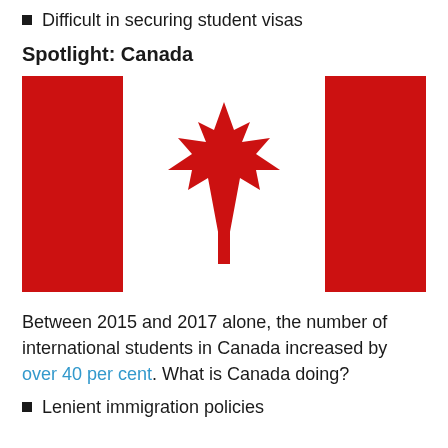Difficult in securing student visas
Spotlight: Canada
[Figure (illustration): Canadian flag with two red vertical bands on left and right, white center band with a red maple leaf in the middle.]
Between 2015 and 2017 alone, the number of international students in Canada increased by over 40 per cent. What is Canada doing?
Lenient immigration policies